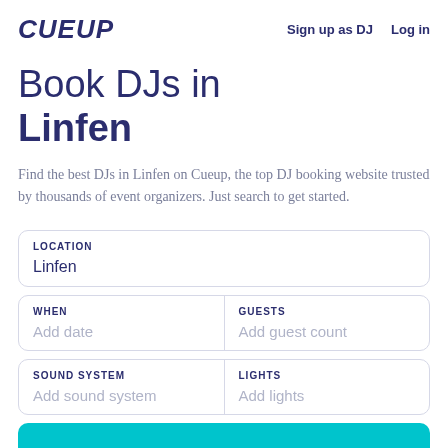CUEUP   Sign up as DJ   Log in
Book DJs in Linfen
Find the best DJs in Linfen on Cueup, the top DJ booking website trusted by thousands of event organizers. Just search to get started.
LOCATION
Linfen
WHEN
Add date
GUESTS
Add guest count
SOUND SYSTEM
Add sound system
LIGHTS
Add lights
[Figure (screenshot): Teal/cyan search button at bottom of page]